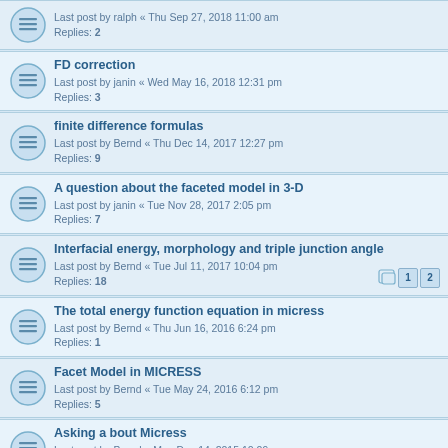Last post by ralph « Thu Sep 27, 2018 11:00 am
Replies: 2
FD correction
Last post by janin « Wed May 16, 2018 12:31 pm
Replies: 3
finite difference formulas
Last post by Bernd « Thu Dec 14, 2017 12:27 pm
Replies: 9
A question about the faceted model in 3-D
Last post by janin « Tue Nov 28, 2017 2:05 pm
Replies: 7
Interfacial energy, morphology and triple junction angle
Last post by Bernd « Tue Jul 11, 2017 10:04 pm
Replies: 18
The total energy function equation in micress
Last post by Bernd « Thu Jun 16, 2016 6:24 pm
Replies: 1
Facet Model in MICRESS
Last post by Bernd « Tue May 24, 2016 6:12 pm
Replies: 5
Asking a bout Micress
Last post by Bernd « Mon Dec 14, 2015 10:09 pm
Replies: 1
New publication on extrapolation models in MICRESS
Last post by Bernd « Tue Sep 08, 2015 7:24 pm
Replies: 2
time step